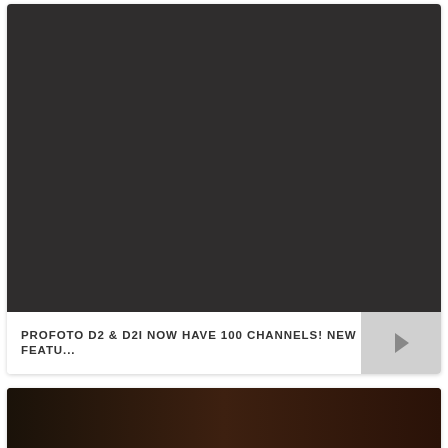[Figure (photo): Dark gray/charcoal colored photography studio image, mostly dark background]
PROFOTO D2 & D2I NOW HAVE 100 CHANNELS! NEW FEATU...
[Figure (photo): Partial view of a camera or photography equipment against a dark warm-toned background]